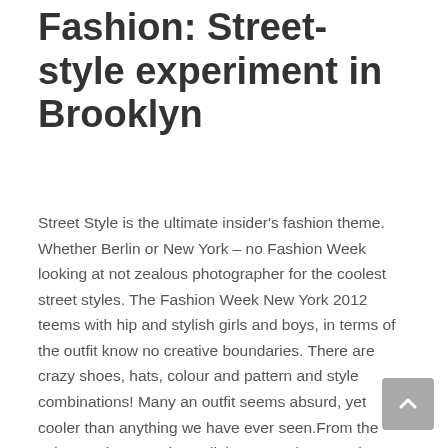Fashion: Street-style experiment in Brooklyn
Street Style is the ultimate insider's fashion theme. Whether Berlin or New York – no Fashion Week looking at not zealous photographer for the coolest street styles. The Fashion Week New York 2012 teems with hip and stylish girls and boys, in terms of the outfit know no creative boundaries. There are crazy shoes, hats, colour and pattern and style combinations! Many an outfit seems absurd, yet cooler than anything we have ever seen.From the subway, change twice, a little run, and we are there. In the middle of Brooklyn. In addition, it looks like in the Movies! Cool photo locations as far as the eye! It is wonderful. So there you